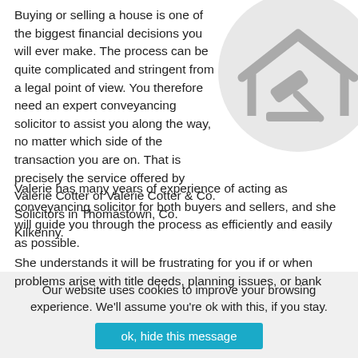Buying or selling a house is one of the biggest financial decisions you will ever make. The process can be quite complicated and stringent from a legal point of view. You therefore need an expert conveyancing solicitor to assist you along the way, no matter which side of the transaction you are on. That is precisely the service offered by Valerie Cotter of Valerie Cotter & Co. Solicitors in Thomastown, Co. Kilkenny.
[Figure (illustration): A circular icon showing a house outline with a gavel/judge's hammer inside, rendered in grey on a light grey circle background.]
Valerie has many years of experience of acting as conveyancing solicitor for both buyers and sellers, and she will guide you through the process as efficiently and easily as possible.
She understands it will be frustrating for you if or when problems arise with title deeds, planning issues, or bank
Our website uses cookies to improve your browsing experience. We'll assume you're ok with this, if you stay.